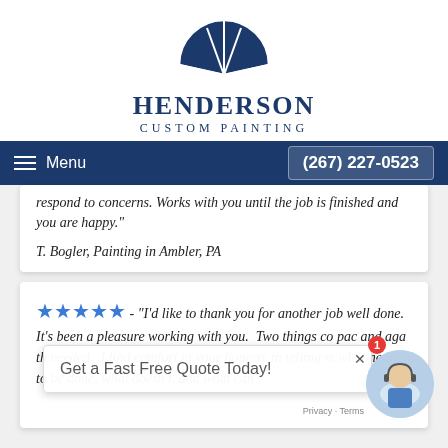[Figure (logo): Henderson Custom Painting logo — dark blue semicircle window/fan icon above company name]
Menu    (267) 227-0523
respond to concerns. Works with you until the job is finished and you are happy."
T. Bogler, Painting in Ambler, PA
★★★★★ - "I'd like to thank you for another job well done. It's been a pleasure working with you. Two things come back and again. The thought needed. I find comfort in your honesty in telling m... what needs to be done, what doesn't, and what can
[Figure (photo): Chat widget with female agent headset photo and 'Get a Fast Free Quote Today!' text overlay]